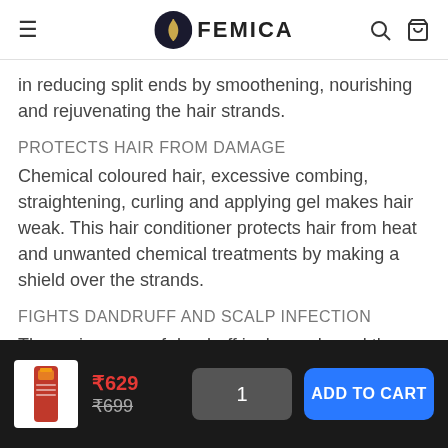FEMICA
in reducing split ends by smoothening, nourishing and rejuvenating the hair strands.
PROTECTS HAIR FROM DAMAGE
Chemical coloured hair, excessive combing, straightening, curling and applying gel makes hair weak. This hair conditioner protects hair from heat and unwanted chemical treatments by making a shield over the strands.
FIGHTS DANDRUFF AND SCALP INFECTION
The main cause of dandruff is dry scalp and the growth of bacteria in the humid regions on the scalp.
₹629 ₹699 1 ADD TO CART